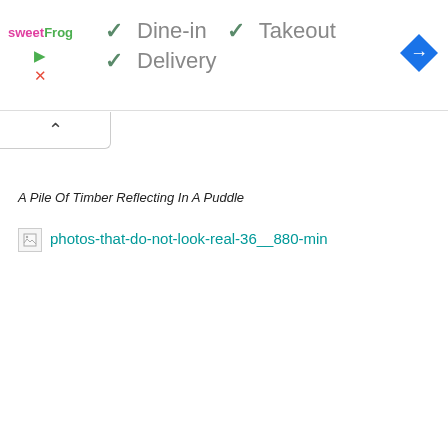[Figure (logo): sweetFrog logo - pink and green text brand logo for frozen yogurt chain]
✓ Dine-in
✓ Takeout
✓ Delivery
[Figure (other): Blue diamond-shaped Google Maps navigation direction icon with white right-turn arrow]
[Figure (other): Collapsed panel toggle button with upward caret]
A Pile Of Timber Reflecting In A Puddle
[Figure (photo): Broken image placeholder with link text: photos-that-do-not-look-real-36__880-min]